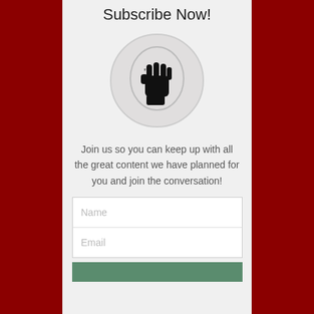Subscribe Now!
[Figure (logo): A raised fist silhouette inside a lightbulb shape, displayed within a circular frame on a light grey background.]
Join us so you can keep up with all the great content we have planned for you and join the conversation!
[Figure (infographic): A form with two input fields: Name and Email, followed by a green subscribe button.]